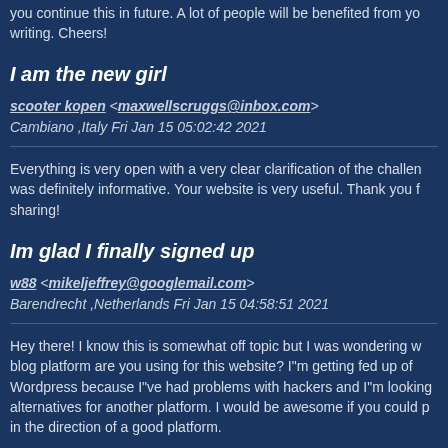you continue this in future. A lot of people will be benefited from your writing. Cheers!
I am the new girl
scooter kopen <maxwellscruggs@inbox.com>
Cambiano ,Italy Fri Jan 15 05:02:42 2021
Everything is very open with a very clear clarification of the challenges. It was definitely informative. Your website is very useful. Thank you for sharing!
Im glad I finally signed up
w88 <mikeljeffrey@googlemail.com>
Barendrecht ,Netherlands Fri Jan 15 04:58:51 2021
Hey there! I know this is somewhat off topic but I was wondering what blog platform are you using for this website? I"m getting fed up of Wordpress because I"ve had problems with hackers and I"m looking at alternatives for another platform. I would be awesome if you could point me in the direction of a good platform.